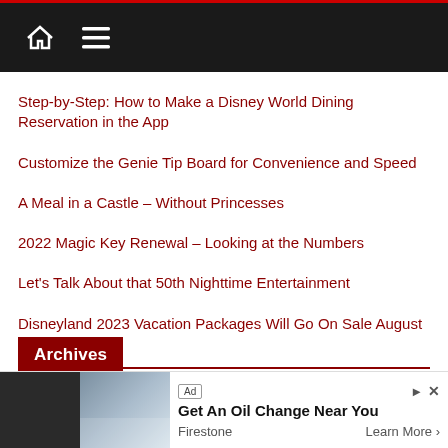Navigation bar with home and menu icons
Step-by-Step: How to Make a Disney World Dining Reservation in the App
Customize the Genie Tip Board for Convenience and Speed
A Meal in a Castle – Without Princesses
2022 Magic Key Renewal – Looking at the Numbers
Let's Talk About that 50th Nighttime Entertainment
Disneyland 2023 Vacation Packages Will Go On Sale August 17
Archives
Select Month
[Figure (screenshot): Advertisement banner: Get An Oil Change Near You – Firestone, Learn More]